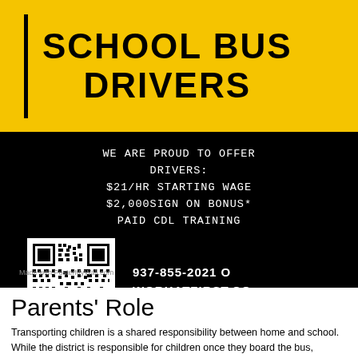[Figure (infographic): School bus drivers recruitment poster with yellow header showing 'SCHOOL BUS DRIVERS', black body with offer details: $21/HR Starting Wage, $2,000 Sign On Bonus*, Paid CDL Training, QR code, phone number 937-855-2021 and workatfirst.com website]
Parents' Role
Transporting children is a shared responsibility between home and school. While the district is responsible for children once they board the bus,